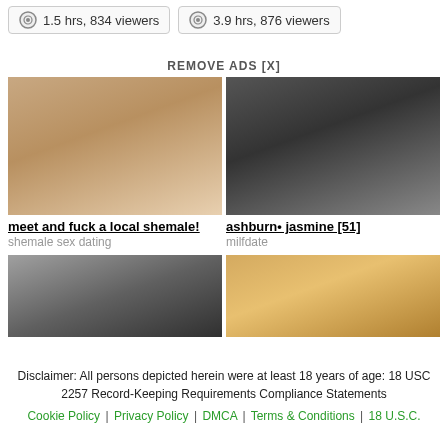1.5 hrs, 834 viewers   3.9 hrs, 876 viewers
REMOVE ADS [X]
[Figure (photo): Advertisement image left - person]
[Figure (photo): Advertisement image right - person]
meet and fuck a local shemale!
shemale sex dating
ashburn• jasmine [51]
milfdate
[Figure (photo): Advertisement image bottom left - person]
[Figure (photo): Advertisement image bottom right - person]
Disclaimer: All persons depicted herein were at least 18 years of age: 18 USC 2257 Record-Keeping Requirements Compliance Statements
Cookie Policy | Privacy Policy | DMCA | Terms & Conditions | 18 U.S.C.